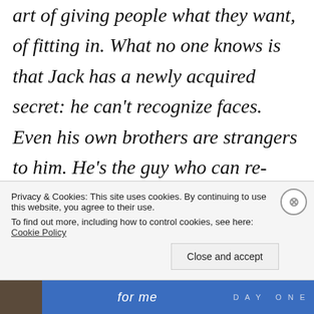art of giving people what they want, of fitting in. What no one knows is that Jack has a newly acquired secret: he can't recognize faces. Even his own brothers are strangers to him. He's the guy who can re-engineer and rebuild anything, but he can't understand what's going on with the inner
Privacy & Cookies: This site uses cookies. By continuing to use this website, you agree to their use. To find out more, including how to control cookies, see here: Cookie Policy
Close and accept
[Figure (other): Advertisement banner at bottom of page with blue background, image on left, italic text 'for me' in center, and 'DAY ONE' text on right]